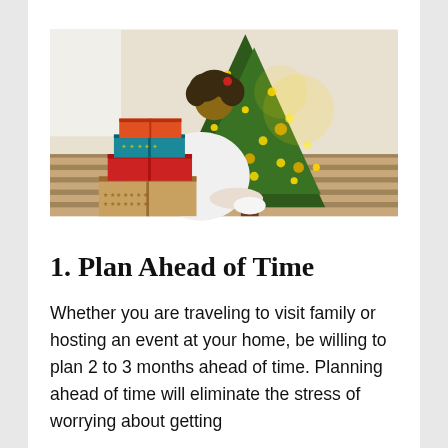[Figure (photo): A person with curly hair wearing a white robe sitting cross-legged on a striped rug in front of a decorated Christmas tree with lights and ornaments, surrounded by wrapped gift boxes in red, teal, and orange colors.]
1. Plan Ahead of Time
Whether you are traveling to visit family or hosting an event at your home, be willing to plan 2 to 3 months ahead of time. Planning ahead of time will eliminate the stress of worrying about getting